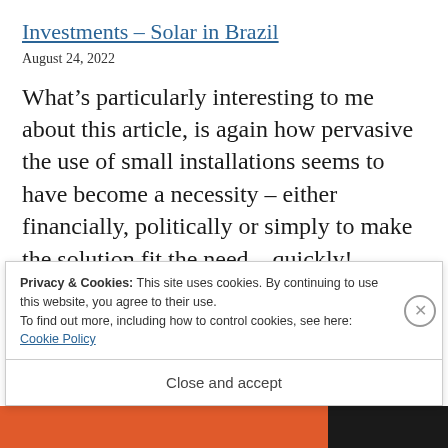Investments – Solar in Brazil
August 24, 2022
What's particularly interesting to me about this article, is again how pervasive the use of small installations seems to have become a necessity – either financially, politically or simply to make the solution fit the need – quickly!
Privacy & Cookies: This site uses cookies. By continuing to use this website, you agree to their use.
To find out more, including how to control cookies, see here: Cookie Policy
Close and accept